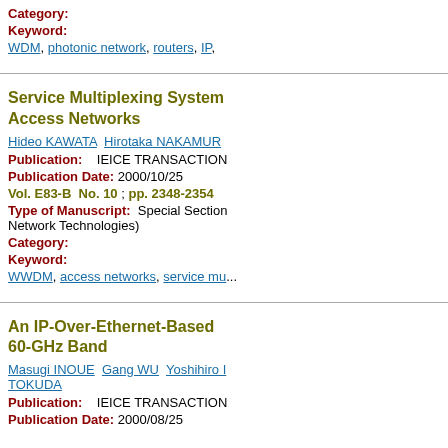Category:
Keyword:
WDM, photonic network, routers, IP,
Service Multiplexing Systems Access Networks
Hideo KAWATA  Hirotaka NAKAMURA
Publication:   IEICE TRANSACTIONS
Publication Date: 2000/10/25
Vol. E83-B  No. 10 ; pp. 2348-2354
Type of Manuscript:  Special Section Network Technologies)
Category:
Keyword:
WWDM, access networks, service mu...
An IP-Over-Ethernet-Based 60-GHz Band
Masugi INOUE  Gang WU  Yoshihiro H... TOKUDA
Publication:   IEICE TRANSACTIONS
Publication Date: 2000/08/25